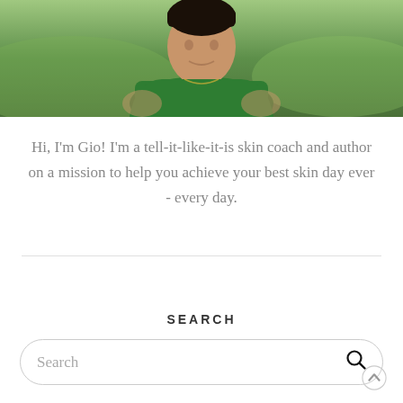[Figure (photo): Cropped photo of a person wearing a green sleeveless shirt, with a blurred outdoor background]
Hi, I'm Gio! I'm a tell-it-like-it-is skin coach and author on a mission to help you achieve your best skin day ever - every day.
SEARCH